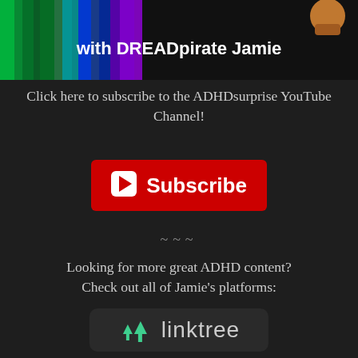[Figure (illustration): Colorful rainbow light streaks banner with text 'with DREADpirate Jamie' in white bold text on the right side, and a cartoon fist icon in the upper right corner]
Click here to subscribe to the ADHDsurprise YouTube Channel!
[Figure (other): Red YouTube Subscribe button with white play triangle icon and 'Subscribe' text in white]
~~~
Looking for more great ADHD content? Check out all of Jamie’s platforms:
[Figure (logo): Linktree logo: two green tree/arrow icons followed by 'linktree' text in gray/white on dark rounded rectangle background]